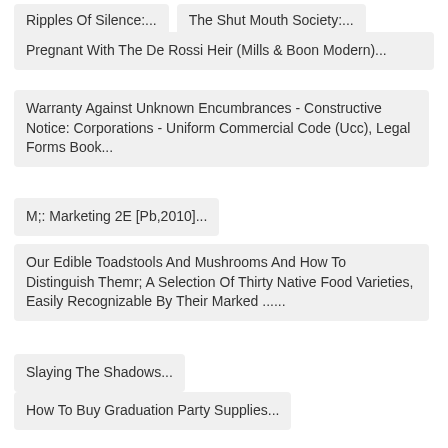Ripples Of Silence...
The Shut Mouth Society...
Pregnant With The De Rossi Heir (Mills & Boon Modern)...
Warranty Against Unknown Encumbrances - Constructive Notice: Corporations - Uniform Commercial Code (Ucc), Legal Forms Book...
M;: Marketing 2E [Pb,2010]...
Our Edible Toadstools And Mushrooms And How To Distinguish Themr; A Selection Of Thirty Native Food Varieties, Easily Recognizable By Their Marked ......
Slaying The Shadows...
How To Buy Graduation Party Supplies...
This Is Church? (Defining Moments Advanced Training For Christian Leaders)...
Divide And Conquer (Tom Clancy's Op-Centre, Book 7)...
52 #35 : Rain Of The Supermen (Week Thirty Five - Dc